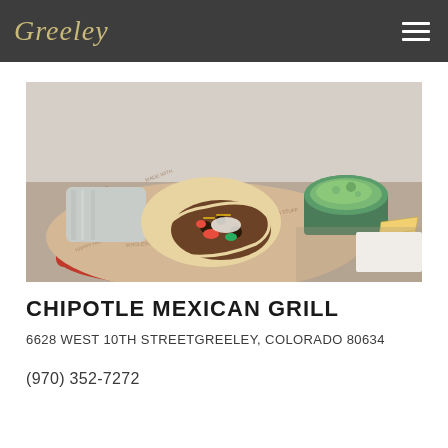Greeley
[Figure (photo): A burrito wrapped in foil and placed on branded paper in a red basket, with a side of guacamole in a green cup and tortilla chips on the right, on a restaurant counter.]
CHIPOTLE MEXICAN GRILL
6628 WEST 10TH STREETGREELEY, COLORADO 80634
(970) 352-7272